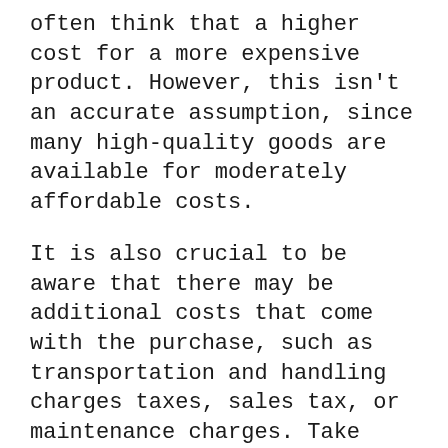often think that a higher cost for a more expensive product. However, this isn't an accurate assumption, since many high-quality goods are available for moderately affordable costs.
It is also crucial to be aware that there may be additional costs that come with the purchase, such as transportation and handling charges taxes, sales tax, or maintenance charges. Take note of your invoice so you know exactly what fees apply to your purchase before you make a decision to purchase the purchase.
Functionality
the different...